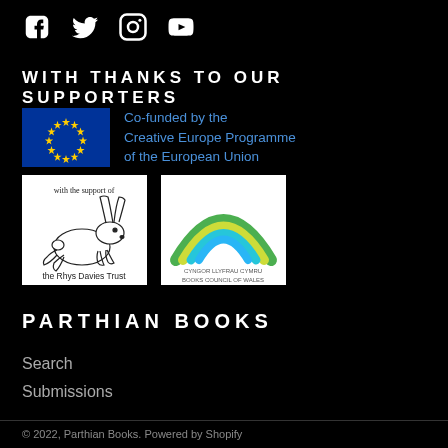[Figure (logo): Social media icons: Facebook, Twitter, Instagram, YouTube]
WITH THANKS TO OUR SUPPORTERS
[Figure (logo): EU flag and text: Co-funded by the Creative Europe Programme of the European Union]
[Figure (logo): The Rhys Davies Trust logo (rabbit) and Books Council of Wales / Cyngor Llyfrau Cymru logo]
PARTHIAN BOOKS
Search
Submissions
© 2022, Parthian Books. Powered by Shopify